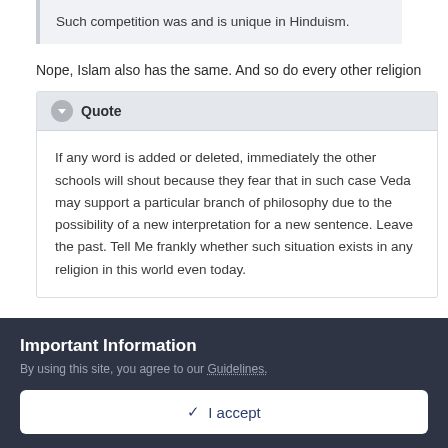Such competition was and is unique in Hinduism.
Nope, Islam also has the same. And so do every other religion
Quote
If any word is added or deleted, immediately the other schools will shout because they fear that in such case Veda may support a particular branch of philosophy due to the possibility of a new interpretation for a new sentence. Leave the past. Tell Me frankly whether such situation exists in any religion in this world even today.
Important Information
By using this site, you agree to our Guidelines.
✓ I accept